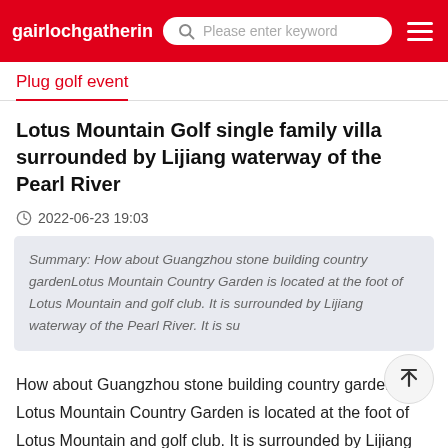gairlochgathering — Please enter keyword
Plug golf event
Lotus Mountain Golf single family villa surrounded by Lijiang waterway of the Pearl River
2022-06-23 19:03
Summary: How about Guangzhou stone building country gardenLotus Mountain Country Garden is located at the foot of Lotus Mountain and golf club. It is surrounded by Lijiang waterway of the Pearl River. It is su
How about Guangzhou stone building country garden Lotus Mountain Country Garden is located at the foot of Lotus Mountain and golf club. It is surrounded by Lijiang waterway of the Pearl River. It is surrounded by water on